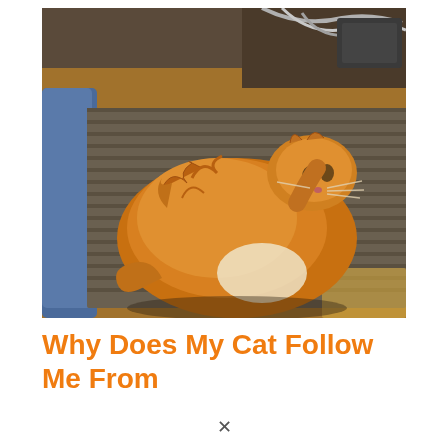[Figure (photo): A fluffy orange/ginger long-haired cat lying curled on a striped mat/rug on a wooden floor. The cat is looking upward. In the background are cables and electronic equipment on a wooden surface. A blue chair or bag is visible on the left edge.]
Why Does My Cat Follow Me From